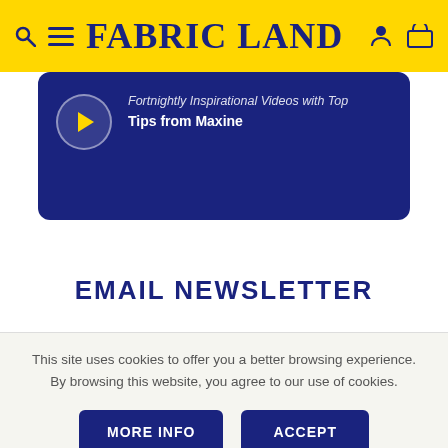FABRIC LAND
[Figure (screenshot): Dark blue card with a play button circle icon and text 'Fortnightly Inspirational Videos with Top Tips from Maxine']
EMAIL NEWSLETTER
This site uses cookies to offer you a better browsing experience. By browsing this website, you agree to our use of cookies.
MORE INFO   ACCEPT